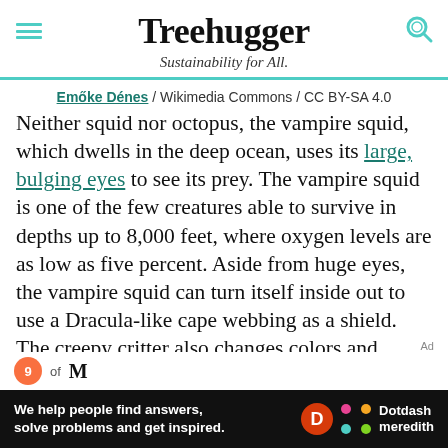Treehugger — Sustainability for All.
Emőke Dénes / Wikimedia Commons / CC BY-SA 4.0
Neither squid nor octopus, the vampire squid, which dwells in the deep ocean, uses its large, bulging eyes to see its prey. The vampire squid is one of the few creatures able to survive in depths up to 8,000 feet, where oxygen levels are as low as five percent. Aside from huge eyes, the vampire squid can turn itself inside out to use a Dracula-like cape webbing as a shield. The creepy critter also changes colors and glows in the deep sea.
We help people find answers, solve problems and get inspired. Dotdash meredith